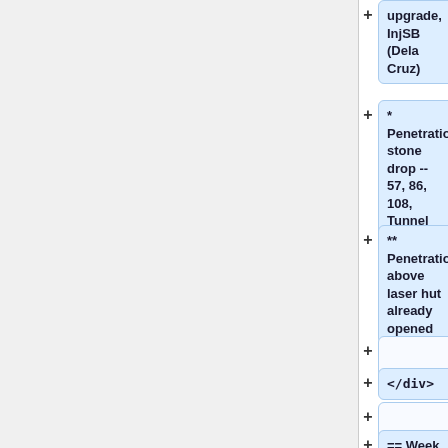upgrade, InjSB (Dela Cruz)
* Penetration stone drop -- 57, 86, 108, Tunnel (Mech Install)
** Penetration above laser hut already opened
</div>
== Week 4 (Oct 12 - Oct 18) Cable Pulls and Y-Chamber Girder Rebuild